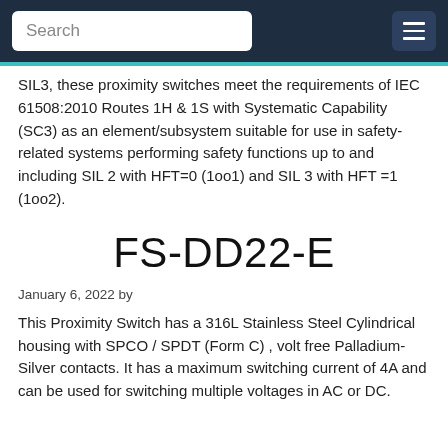Search
SIL3, these proximity switches meet the requirements of IEC 61508:2010 Routes 1H & 1S with Systematic Capability (SC3) as an element/subsystem suitable for use in safety-related systems performing safety functions up to and including SIL 2 with HFT=0 (1oo1) and SIL 3 with HFT =1 (1oo2).
FS-DD22-E
January 6, 2022 by
This Proximity Switch has a 316L Stainless Steel Cylindrical housing with SPCO / SPDT (Form C) , volt free Palladium-Silver contacts. It has a maximum switching current of 4A and can be used for switching multiple voltages in AC or DC.